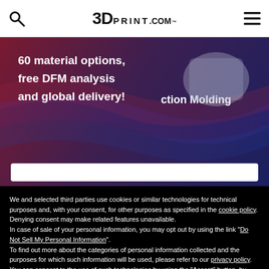3DPRINT.COM
[Figure (photo): Advertisement banner showing injection molded parts with text '60 material options, free DFM analysis and global delivery!' and 'ction Molding' overlay]
We and selected third parties use cookies or similar technologies for technical purposes and, with your consent, for other purposes as specified in the cookie policy. Denying consent may make related features unavailable.
In case of sale of your personal information, you may opt out by using the link "Do Not Sell My Personal Information".
To find out more about the categories of personal information collected and the purposes for which such information will be used, please refer to our privacy policy. You can consent to the use of such technologies by using the "Accept" button, by scrolling this page, by interacting with any link or button outside of this notice or by continuing to browse otherwise.
Reject
Accept
Learn more and customize